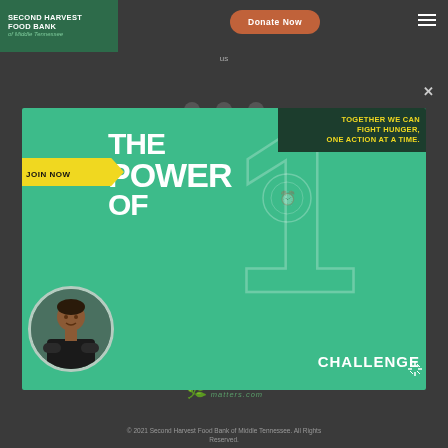SECOND HARVEST FOOD BANK of Middle Tennessee
us
[Figure (infographic): Second Harvest Power of 1 Challenge promotional banner. Green background with 'JOIN NOW' yellow arrow banner, 'THE POWER OF' in white large text, giant '1' outline, 'CHALLENGE' text, circular photo of a youth, and yellow banner 'TOGETHER WE CAN FIGHT HUNGER, ONE ACTION AT A TIME.']
givingmatters.com
© 2021 Second Harvest Food Bank of Middle Tennessee. All Rights Reserved.